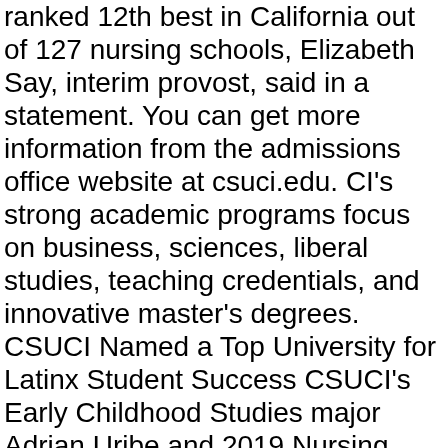ranked 12th best in California out of 127 nursing schools, Elizabeth Say, interim provost, said in a statement. You can get more information from the admissions office website at csuci.edu. CI's strong academic programs focus on business, sciences, liberal studies, teaching credentials, and innovative master's degrees. CSUCI Named a Top University for Latinx Student Success CSUCI's Early Childhood Studies major Adrian Uribe and 2019 Nursing graduate Diana Xicotencatl remember the anxiety they felt as … University Hours of Operation Fall 2019 / Vol. This chart is intended to provide general impaction information speciic to … Payment Deadline 8/30/2019 1/31/2020 6/5/2020 last date for add/drop w/ 75% refund, after this date a "W" is given, 25% of term 9/20/2019 ITS was awarded a $10,000 innovation mini-grant from the CSU Chancellor's Office for a multi-campus business process automation tool proof-of-concept. Nursing - Basic Pre-Licensure BSN Program application due date is January 11, 2019 at 8:59 PM (PST) November 30, 2018. School of Nursing